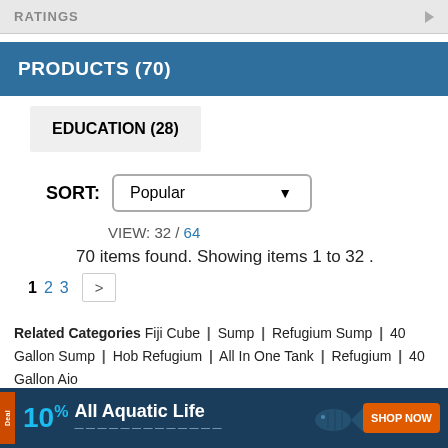RATINGS
PRODUCTS (70)
EDUCATION (28)
SORT: Popular
VIEW: 32 / 64
70 items found. Showing items 1 to 32 .
1 2 3 >
Related Categories Fiji Cube | Sump | Refugium Sump | 40 Gallon Sump | Hob Refugium | All In One Tank | Refugium | 40 Gallon Aio
[Figure (screenshot): Advertisement banner: 10% All Aquatic Life - Deal - SHOP NOW]